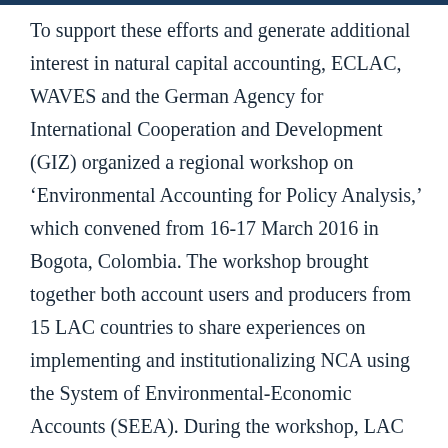To support these efforts and generate additional interest in natural capital accounting, ECLAC, WAVES and the German Agency for International Cooperation and Development (GIZ) organized a regional workshop on ‘Environmental Accounting for Policy Analysis,’ which convened from 16-17 March 2016 in Bogota, Colombia. The workshop brought together both account users and producers from 15 LAC countries to share experiences on implementing and institutionalizing NCA using the System of Environmental-Economic Accounts (SEEA). During the workshop, LAC countries expressed support for developing a